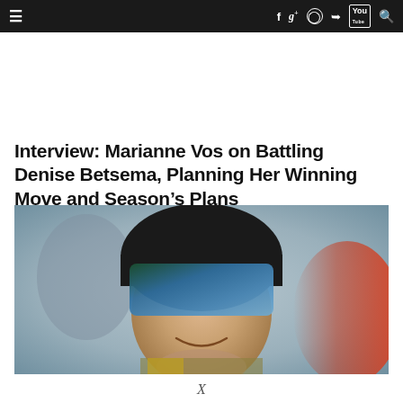≡  f  g+  ○  🐦  You  🔍
Interview: Marianne Vos on Battling Denise Betsema, Planning Her Winning Move and Season's Plans
[Figure (photo): Close-up photo of a cyclist (Marianne Vos) wearing a black helmet and green/blue mirrored visor, smiling, with another person and red jacket visible in the blurred background.]